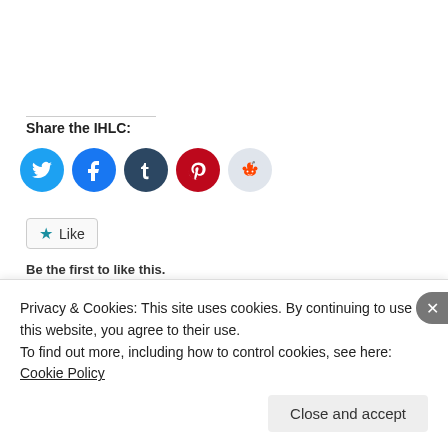Share the IHLC:
[Figure (infographic): Social media share buttons: Twitter (blue), Facebook (blue), Tumblr (dark blue), Pinterest (red), Reddit (light grey)]
[Figure (infographic): Like button with star icon and text 'Like'. Below: 'Be the first to like this.']
This entry was posted in IHLC Results, Three / Four Nations Cup and tagged Canada, Finland, Four Nations Cup, Lake Placid.
Privacy & Cookies: This site uses cookies. By continuing to use this website, you agree to their use.
To find out more, including how to control cookies, see here: Cookie Policy
Close and accept